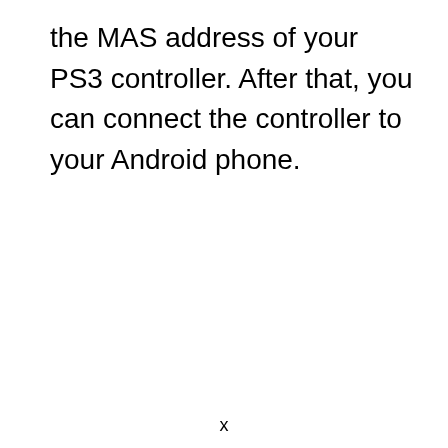the MAS address of your PS3 controller. After that, you can connect the controller to your Android phone.
x